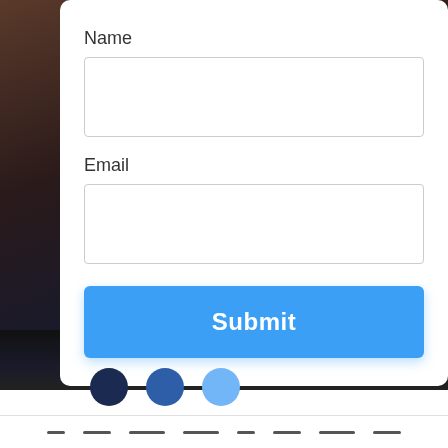[Figure (screenshot): A web form UI on a dark background showing Name and Email input fields with a blue Submit button, and below a white section with three blue circles (dark navy, medium blue, light blue) and a bottom navigation bar.]
Name
Email
Submit